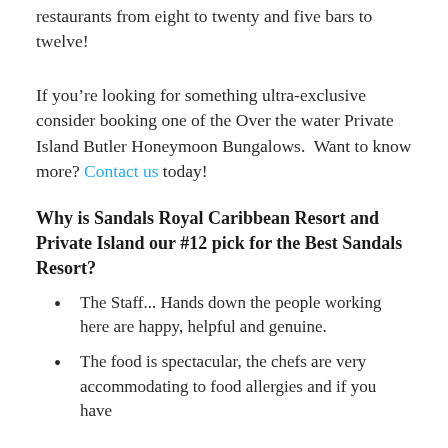restaurants from eight to twenty and five bars to twelve!
If you’re looking for something ultra-exclusive consider booking one of the Over the water Private Island Butler Honeymoon Bungalows.  Want to know more? Contact us today!
Why is Sandals Royal Caribbean Resort and Private Island our #12 pick for the Best Sandals Resort?
The Staff... Hands down the people working here are happy, helpful and genuine.
The food is spectacular, the chefs are very accommodating to food allergies and if you have